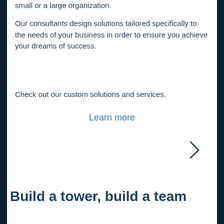small or a large organization.
Our consultants design solutions tailored specifically to the needs of your business in order to ensure you achieve your dreams of success.
Check out our custom solutions and services.
Learn more
[Figure (other): Right-facing chevron/arrow navigation icon]
Build a tower, build a team